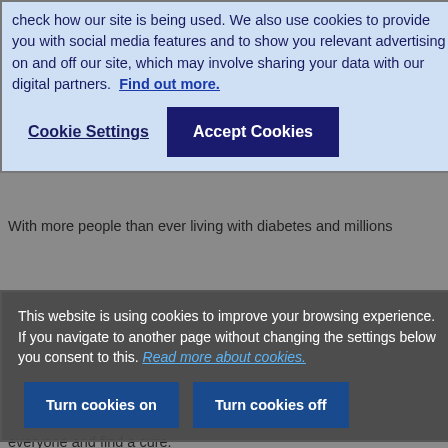check how our site is being used. We also use cookies to provide you with social media features and to show you relevant advertising on and off our site, which may involve sharing your data with our digital partners. Find out more.
Cookie Settings
Accept Cookies
About the Company
For nearly 5 million people with diabetes in the UK, there's no day off. At Diabetes UK, we fight day in, day out for better care, treatment and support. We won't stop until diabetes can do no harm.
With more people than ever living with diabetes and millions
This website is using cookies to improve your browsing experience. If you navigate to another page without changing the settings below you consent to this. Read more about cookies.
Turn cookies on
Turn cookies off
everyone and find a cure.